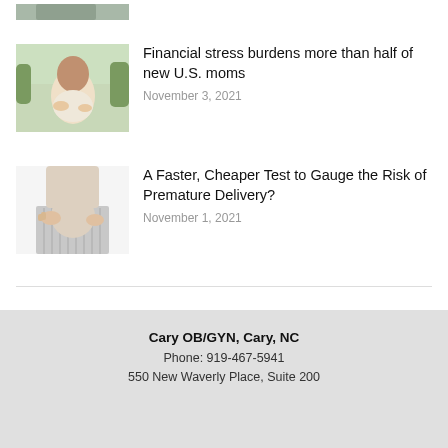[Figure (photo): Partial top image of a person, cropped at top]
[Figure (photo): Woman standing outdoors holding her pregnant belly, smiling down]
Financial stress burdens more than half of new U.S. moms
November 3, 2021
[Figure (photo): Person holding pregnant belly with both hands, grey pleated dress]
A Faster, Cheaper Test to Gauge the Risk of Premature Delivery?
November 1, 2021
Cary OB/GYN, Cary, NC
Phone: 919-467-5941
550 New Waverly Place, Suite 200